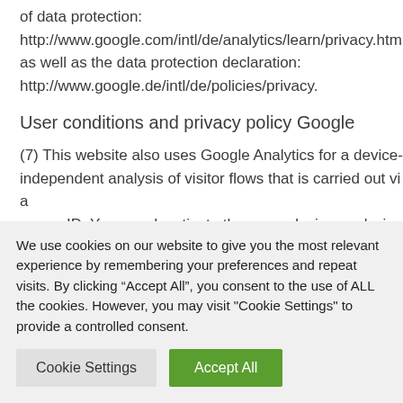of data protection:
http://www.google.com/intl/de/analytics/learn/privacy.htm
as well as the data protection declaration:
http://www.google.de/intl/de/policies/privacy.
User conditions and privacy policy Google
(7) This website also uses Google Analytics for a device-independent analysis of visitor flows that is carried out via a user ID. You can deactivate the cross-device analysis of your usage in your customer account under “My data” an
We use cookies on our website to give you the most relevant experience by remembering your preferences and repeat visits. By clicking “Accept All”, you consent to the use of ALL the cookies. However, you may visit "Cookie Settings" to provide a controlled consent.
Cookie Settings
Accept All